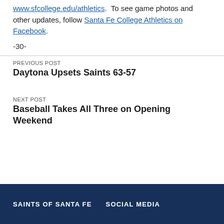www.sfcollege.edu/athletics. To see game photos and other updates, follow Santa Fe College Athletics on Facebook.
-30-
PREVIOUS POST
Daytona Upsets Saints 63-57
NEXT POST
Baseball Takes All Three on Opening Weekend
SAINTS OF SANTA FE   SOCIAL MEDIA